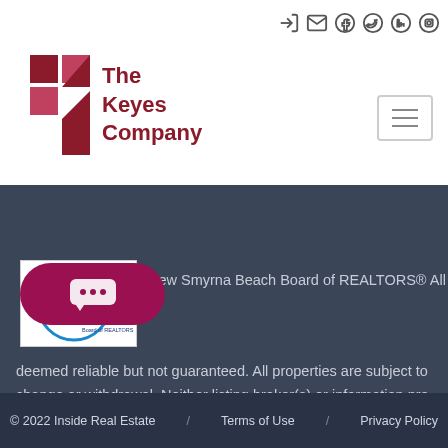[Figure (logo): The Keyes Company logo with red K symbol and text]
[Figure (logo): New Smyrna Beach Board of REALTORS logo]
New Smyrna Beach Board of REALTORS® All info deemed reliable but not guaranteed. All properties are subject to change or withdrawal. Neither listing broker(s) or information pro be responsible for any typographical errors, misinformation, misp be held totally harmless. Listing(s) information is provided for co personal, non-commercial use and may not be used for any purp to identify prospective properties consumers may be interested s
© 2022 Inside Real Estate  /  Terms of Use  /  Privacy Policy